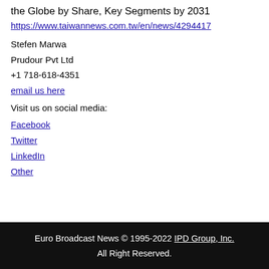the Globe by Share, Key Segments by 2031
https://www.taiwannews.com.tw/en/news/4294417
Stefen Marwa
Prudour Pvt Ltd
+1 718-618-4351
email us here
Visit us on social media:
Facebook
Twitter
LinkedIn
Other
Euro Broadcast News © 1995-2022 IPD Group, Inc. All Right Reserved.